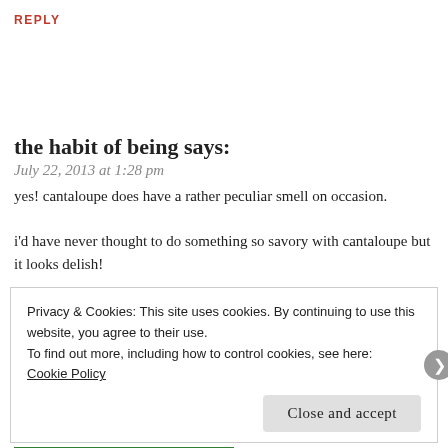REPLY
the habit of being says:
July 22, 2013 at 1:28 pm
yes! cantaloupe does have a rather peculiar smell on occasion.

i'd have never thought to do something so savory with cantaloupe but it looks delish!
Privacy & Cookies: This site uses cookies. By continuing to use this website, you agree to their use.
To find out more, including how to control cookies, see here:
Cookie Policy
Close and accept